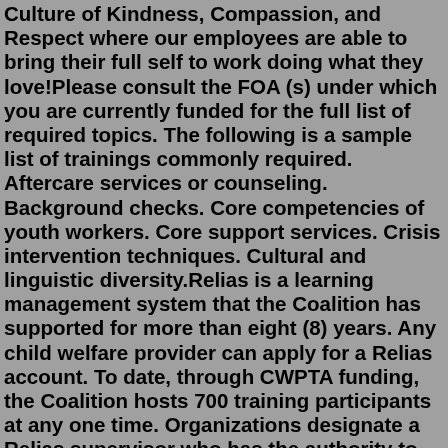Culture of Kindness, Compassion, and Respect where our employees are able to bring their full self to work doing what they love!Please consult the FOA (s) under which you are currently funded for the full list of required topics. The following is a sample list of trainings commonly required. Aftercare services or counseling. Background checks. Core competencies of youth workers. Core support services. Crisis intervention techniques. Cultural and linguistic diversity.Relias is a learning management system that the Coalition has supported for more than eight (8) years. Any child welfare provider can apply for a Relias account. To date, through CWPTA funding, the Coalition hosts 700 training participants at any one time. Organizations designate a Relias supervisor who has the authority to enroll and remove ... Whether it's a one hour discussion or a four day workshop, making participants comfortable and engaged in the process is the key to producing a positive learning outcome. The mission is not merely to deliver excellent training. Rather, it is to enhance the